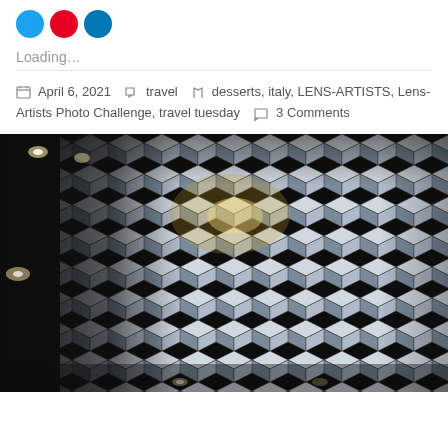[Figure (other): Three social share icon circles: Twitter (blue), Pinterest (red), LinkedIn (blue)]
Loading...
April 6, 2021   travel   desserts, italy, LENS-ARTISTS, Lens-Artists Photo Challenge, travel tuesday   3 Comments
[Figure (photo): Close-up architectural photo of a geometric hexagonal mirror tile facade structure against a dark ceiling with spotlights]